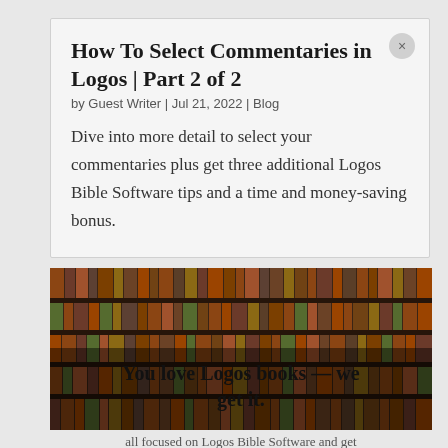How To Select Commentaries in Logos | Part 2 of 2
by Guest Writer | Jul 21, 2022 | Blog
Dive into more detail to select your commentaries plus get three additional Logos Bible Software tips and a time and money-saving bonus.
[Figure (photo): A large bookshelf filled with many books with overlaid bold text reading 'You love Logos books — we get it.']
all focused on Logos Bible Software and get